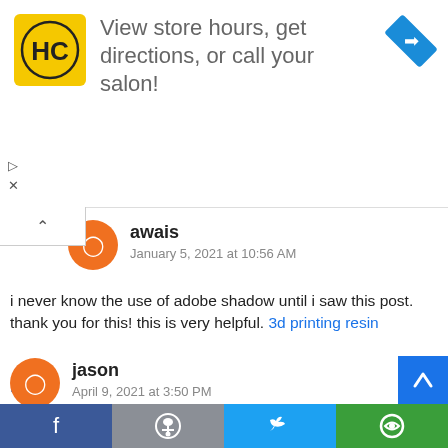[Figure (screenshot): Advertisement banner for HC salon: yellow logo with HC text, ad copy 'View store hours, get directions, or call your salon!', blue diamond navigation arrow icon on right]
awais
January 5, 2021 at 10:56 AM
i never know the use of adobe shadow until i saw this post. thank you for this! this is very helpful. 3d printing resin
Reply
jason
April 9, 2021 at 3:50 PM
These input stages are often regarded as the commodity
[Figure (screenshot): Social sharing bar with Facebook, Reddit, Twitter, and another share icon]